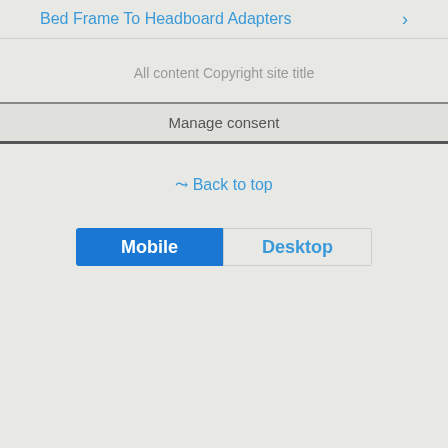Bed Frame To Headboard Adapters
All content Copyright site title
Manage consent
⇪ Back to top
Mobile  Desktop